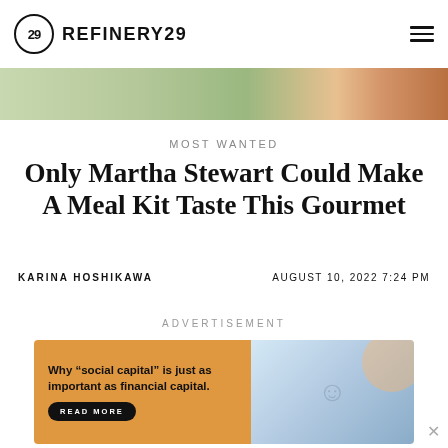REFINERY29
[Figure (photo): Hero image strip showing food or lifestyle photography in green and orange tones]
MOST WANTED
Only Martha Stewart Could Make A Meal Kit Taste This Gourmet
KARINA HOSHIKAWA   AUGUST 10, 2022 7:24 PM
ADVERTISEMENT
[Figure (other): Advertisement banner: Why "social capital" is just as important as financial capital. READ MORE button. Shows woman with blonde hair smiling.]